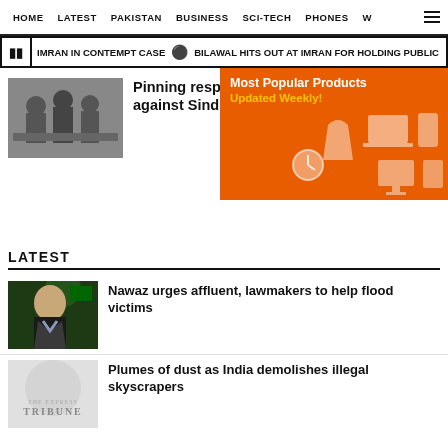HOME  LATEST  PAKISTAN  BUSINESS  SCI-TECH  PHONES  W
IMRAN IN CONTEMPT CASE  •  BILAWAL HITS OUT AT IMRAN FOR HOLDING PUBLIC
Pinning respons... against Sindh g...
[Figure (illustration): Orange advertisement banner showing Most Popular Products - Updated Weekly! with tech product icons]
LATEST
Nawaz urges affluent, lawmakers to help flood victims
Plumes of dust as India demolishes illegal skyscrapers